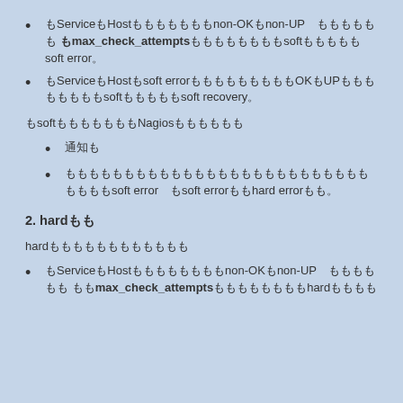もしServiceやHostがnon-OKやnon-UP の状態になりmax_check_attemptsで設定した数だけsoftの状態になり、soft error。
もしServiceやHostがsoft errorの状態からOKやUPに戻りそれまでsoftだったのがsoft recovery。
またsoftの状態ではNagiosは以下のことを
通知
サービスやホストのイベントハンドラが設定されていればsoft error のsoft errorがhard errorになった
2. hard状態
hardの状態とは以下の事です。
もしServiceやHostがnon-OKやnon-UP の状態になりmax_check_attemptsで設定した数だけhardの状態に